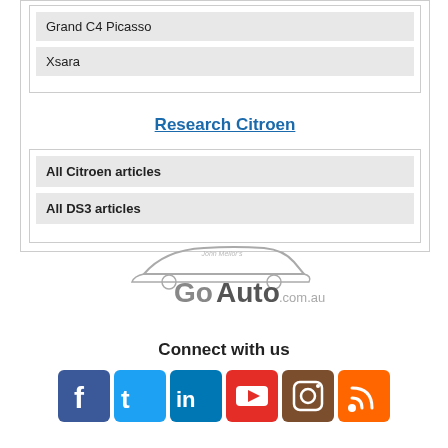Grand C4 Picasso
Xsara
Research Citroen
All Citroen articles
All DS3 articles
[Figure (logo): GoAuto.com.au logo with John Mellor's signature and car silhouette]
Connect with us
[Figure (infographic): Social media icons: Facebook, Twitter, LinkedIn, YouTube, Instagram, RSS]